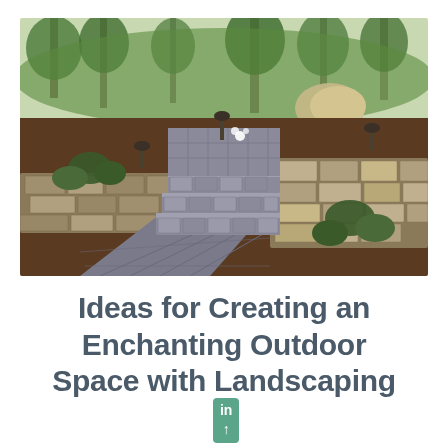[Figure (photo): Outdoor landscaping photo showing a curved stone paver walkway with steps, natural stone retaining walls on both sides, mulched planting beds with shrubs, landscape lighting, and trees in the background.]
Ideas for Creating an Enchanting Outdoor Space with Landscaping in Eureka MO